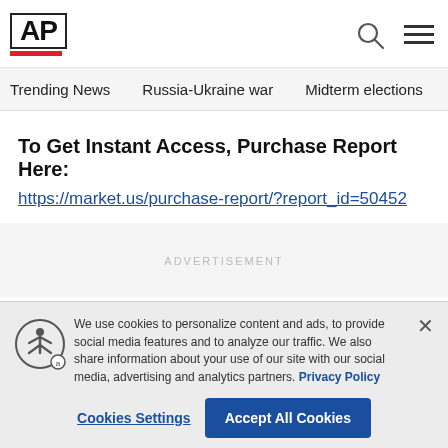AP
Trending News  Russia-Ukraine war  Midterm elections  Dona
To Get Instant Access, Purchase Report Here:
https://market.us/purchase-report/?report_id=50452
ADVERTISEMENT
We use cookies to personalize content and ads, to provide social media features and to analyze our traffic. We also share information about your use of our site with our social media, advertising and analytics partners. Privacy Policy
Cookies Settings  Accept All Cookies